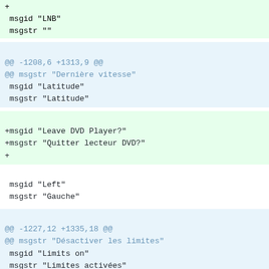+ 
 msgid "LNB"
 msgstr ""
@@ -1208,6 +1313,9 @@
@@ msgstr "Dernière vitesse"
 msgid "Latitude"
 msgstr "Latitude"
+msgid "Leave DVD Player?"
+msgstr "Quitter lecteur DVD?"
+
msgid "Left"
 msgstr "Gauche"
@@ -1227,12 +1335,18 @@
@@ msgstr "Désactiver les limites"
 msgid "Limits on"
 msgstr "Limites activées"
msgid "Link..."